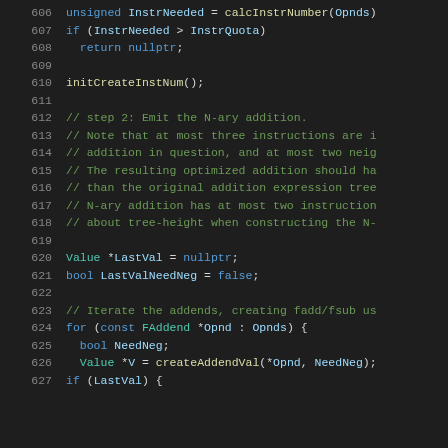[Figure (screenshot): Source code editor screenshot showing C++ code lines 606-627 with syntax highlighting on dark background. Line numbers in grey on left, keywords in blue, comments in green, variables in light blue, function names in yellow.]